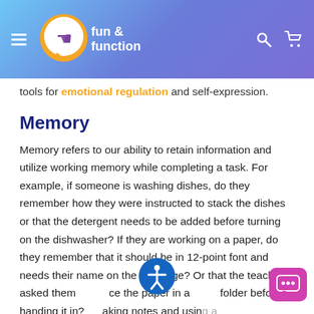fun & function — navigation header with logo, hamburger menu, search and cart icons
tools for emotional regulation and self-expression.
Memory
Memory refers to our ability to retain information and utilize working memory while completing a task. For example, if someone is washing dishes, do they remember how they were instructed to stack the dishes or that the detergent needs to be added before turning on the dishwasher? If they are working on a paper, do they remember that it should be in 12-point font and needs their name on the title page? Or that the teacher asked them to place the paper in a folder before handing it in? Taking notes and using a